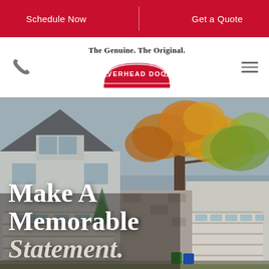Schedule Now | Get a Quote
[Figure (logo): Overhead Door logo with tagline 'The Genuine. The Original.' and red arch banner logo]
[Figure (photo): Photo of a residential home with garage doors, a large autumn tree with orange/yellow foliage, gray siding, overcast sky]
Make A Memorable Statement.